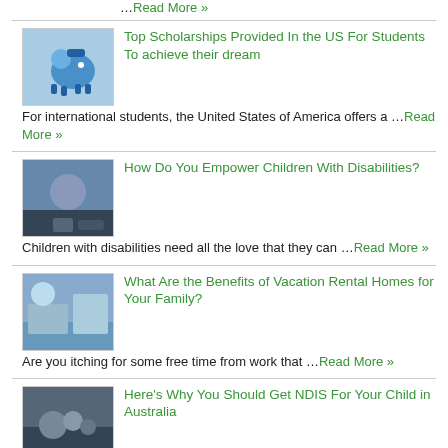…Read More »
Top Scholarships Provided In the US For Students To achieve their dream
For international students, the United States of America offers a …Read More »
How Do You Empower Children With Disabilities?
Children with disabilities need all the love that they can …Read More »
What Are the Benefits of Vacation Rental Homes for Your Family?
Are you itching for some free time from work that …Read More »
Here's Why You Should Get NDIS For Your Child in Australia
The National Disability Insurance Scheme (NDIS) is a government-funded program …Read More »
Different Dental Treatments And Procedures Available In Falls Church
The Virginian state of Falls Church is spread over 2.05 …Read More »